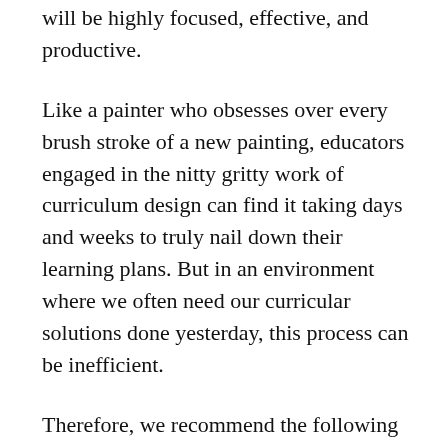will be highly focused, effective, and productive.
Like a painter who obsesses over every brush stroke of a new painting, educators engaged in the nitty gritty work of curriculum design can find it taking days and weeks to truly nail down their learning plans. But in an environment where we often need our curricular solutions done yesterday, this process can be inefficient.
Therefore, we recommend the following tips:
Sketch a canvas in one sitting. While a unit plan can take weeks or months to write, your initial canvas should be sketched quickly. Yes, you read that right. Set a timer